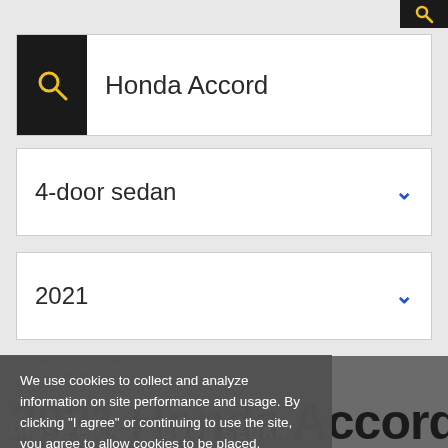Honda Accord
4-door sedan
2021
Home / Vehicle ratings /
2021 Top Safety Pick+
2021 Honda Accord
MIDSIZE CAR 4-DOOR SEDAN
We use cookies to collect and analyze information on site performance and usage. By clicking "I agree" or continuing to use the site, you agree to allow cookies to be placed.
PRIVACY POLICY
AGREE